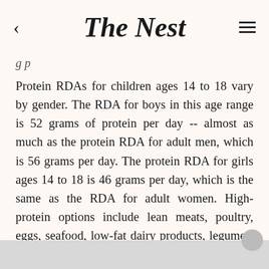The Nest
g p
Protein RDAs for children ages 14 to 18 vary by gender. The RDA for boys in this age range is 52 grams of protein per day -- almost as much as the protein RDA for adult men, which is 56 grams per day. The protein RDA for girls ages 14 to 18 is 46 grams per day, which is the same as the RDA for adult women. High-protein options include lean meats, poultry, eggs, seafood, low-fat dairy products, legumes, soy products, peanut butter, nuts and seeds. For example, consuming just 1 cup of low-fat cottage cheese provides about 28 grams of protein, according to the U.S. Department of Agriculture.